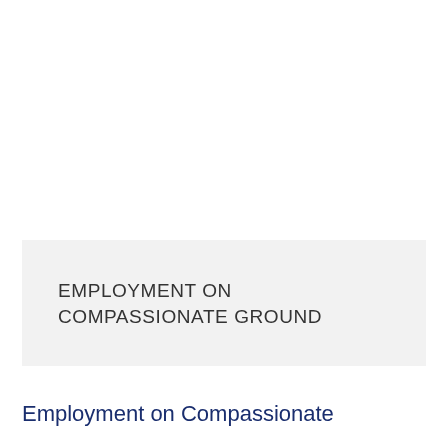EMPLOYMENT ON COMPASSIONATE GROUND
Employment on Compassionate